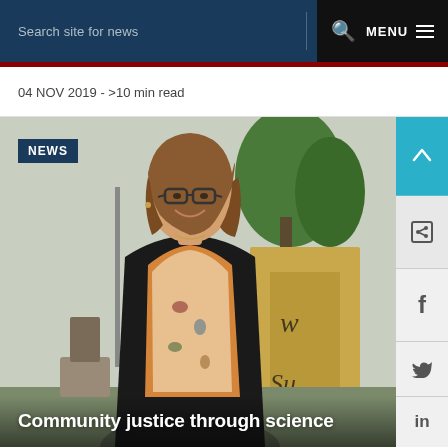Search site for news   🔍   MENU ≡
04 NOV 2019 - >10 min read
[Figure (photo): A smiling woman with glasses and long brown hair, wearing a black blazer over a patterned blouse, standing outdoors in front of a university sign and trees. A 'NEWS' badge appears in the top-left corner. A social media sidebar is on the right edge.]
Community justice through science